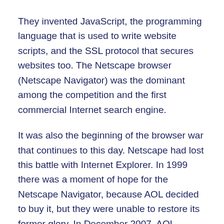They invented JavaScript, the programming language that is used to write website scripts, and the SSL protocol that secures websites too. The Netscape browser (Netscape Navigator) was the dominant among the competition and the first commercial Internet search engine.
It was also the beginning of the browser war that continues to this day. Netscape had lost this battle with Internet Explorer. In 1999 there was a moment of hope for the Netscape Navigator, because AOL decided to buy it, but they were unable to restore its former glory. In December 2007, AOL announced that they have no intention of further supporting the development of the Navigator. This was actually the end of the first web browser.